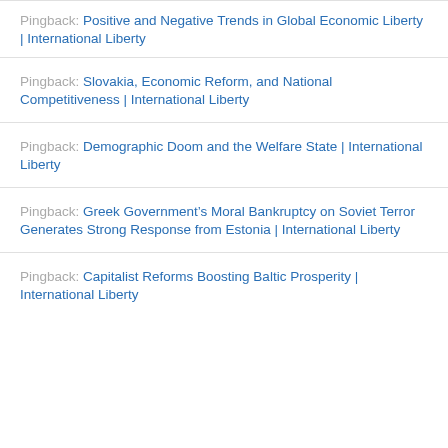Pingback: Positive and Negative Trends in Global Economic Liberty | International Liberty
Pingback: Slovakia, Economic Reform, and National Competitiveness | International Liberty
Pingback: Demographic Doom and the Welfare State | International Liberty
Pingback: Greek Government’s Moral Bankruptcy on Soviet Terror Generates Strong Response from Estonia | International Liberty
Pingback: Capitalist Reforms Boosting Baltic Prosperity | International Liberty